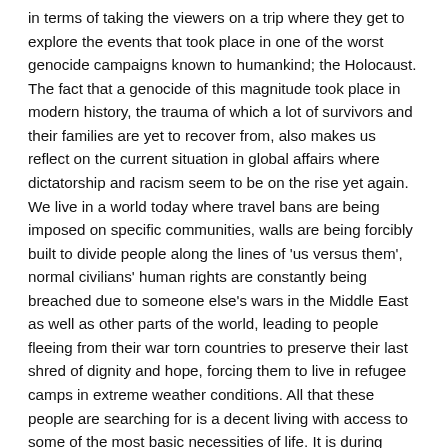in terms of taking the viewers on a trip where they get to explore the events that took place in one of the worst genocide campaigns known to humankind; the Holocaust. The fact that a genocide of this magnitude took place in modern history, the trauma of which a lot of survivors and their families are yet to recover from, also makes us reflect on the current situation in global affairs where dictatorship and racism seem to be on the rise yet again. We live in a world today where travel bans are being imposed on specific communities, walls are being forcibly built to divide people along the lines of 'us versus them', normal civilians' human rights are constantly being breached due to someone else's wars in the Middle East as well as other parts of the world, leading to people fleeing from their war torn countries to preserve their last shred of dignity and hope, forcing them to live in refugee camps in extreme weather conditions. All that these people are searching for is a decent living with access to some of the most basic necessities of life. It is during times such as these that a trip down memory lane in history can make us reflect deeply on the state of the world around us and to remind us why it is so important to avoid repeating the same